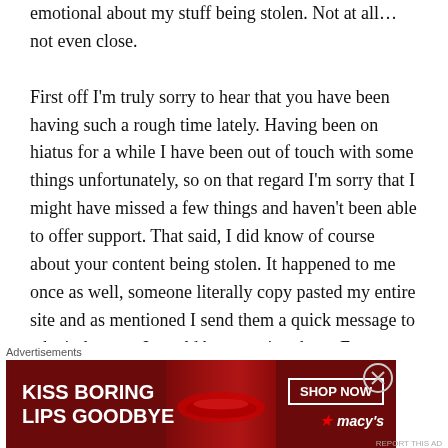emotional about my stuff being stolen. Not at all…not even close.
First off I'm truly sorry to hear that you have been having such a rough time lately. Having been on hiatus for a while I have been out of touch with some things unfortunately, so on that regard I'm sorry that I might have missed a few things and haven't been able to offer support. That said, I did know of course about your content being stolen. It happened to me once as well, someone literally copy pasted my entire site and as mentioned I send them a quick message to take it down or I would be reporting them. For me that did the trick (luckily) but I'm sorry it
Advertisements
[Figure (other): Advertisement banner for Macy's lipstick promotion reading 'KISS BORING LIPS GOODBYE' with a SHOP NOW button and Macy's logo, featuring a woman's face with red lips on a dark red background.]